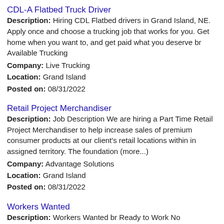CDL-A Flatbed Truck Driver
Description: Hiring CDL Flatbed drivers in Grand Island, NE. Apply once and choose a trucking job that works for you. Get home when you want to, and get paid what you deserve br Available Trucking
Company: Live Trucking
Location: Grand Island
Posted on: 08/31/2022
Retail Project Merchandiser
Description: Job Description We are hiring a Part Time Retail Project Merchandiser to help increase sales of premium consumer products at our client's retail locations within in assigned territory. The foundation (more...)
Company: Advantage Solutions
Location: Grand Island
Posted on: 08/31/2022
Workers Wanted
Description: Workers Wanted br Ready to Work No Experience br
Company: Midwest Hydraulic
Location: Grand Island
Posted on: 08/31/2022
Class A Dedicated Route Driver Excellent Pay & Home Tim